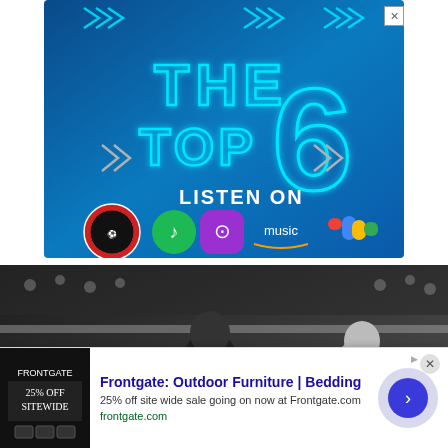[Figure (illustration): Advertisement banner for 'The Top 6' podcast. Dark blue background with neon cyan chevrons and the text 'THE TOP 6' in large neon letters. Below: 'LISTEN ON' with streaming service logos (Spotify, Apple Podcasts, Amazon Music, Google Podcasts) and a Football Terrace podcast logo.]
[Figure (photo): Black and white photograph of football players in action, one player appearing to push or jostle another during a match.]
[Figure (illustration): Advertisement for Frontgate: Outdoor Furniture and Bedding. Shows a Frontgate ad image with '25% OFF SITEWIDE' text. Ad text reads: 'Frontgate: Outdoor Furniture | Bedding' with description '25% off site wide sale going on now at Frontgate.com' and URL 'frontgate.com'. Blue arrow button on the right.]